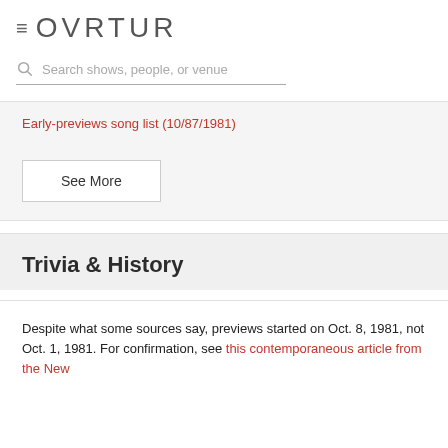≡ OVRTUR
Search shows, people, or venue
Early-previews song list (10/87/1981)
See More
Trivia & History
Despite what some sources say, previews started on Oct. 8, 1981, not Oct. 1, 1981. For confirmation, see this contemporaneous article from the New...